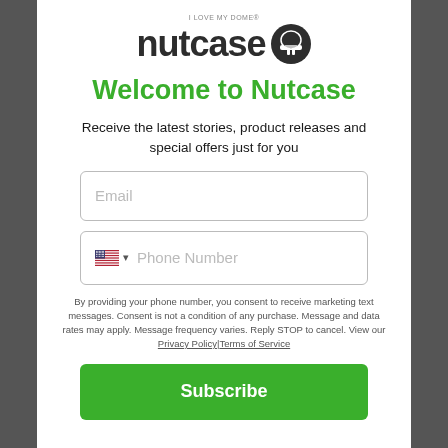[Figure (logo): Nutcase helmet brand logo with stylized text 'nutcase' and a helmet icon, with tagline 'I love my dome']
Welcome to Nutcase
Receive the latest stories, product releases and special offers just for you
Email
Phone Number
By providing your phone number, you consent to receive marketing text messages. Consent is not a condition of any purchase. Message and data rates may apply. Message frequency varies. Reply STOP to cancel. View our Privacy Policy|Terms of Service
Subscribe